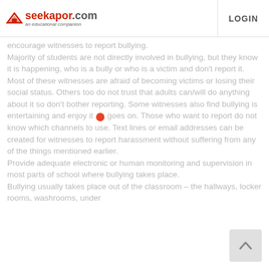seekapor.com — an educational companion | LOGIN
encourage witnesses to report bullying. Majority of students are not directly involved in bullying, but they know it is happening, who is a bully or who is a victim and don't report it. Most of these witnesses are afraid of becoming victims or losing their social status. Others too do not trust that adults can/will do anything about it so don't bother reporting. Some witnesses also find bullying is entertaining and enjoy it as it goes on. Those who want to report do not know which channels to use. Text lines or email addresses can be created for witnesses to report harassment without suffering from any of the things mentioned earlier. Provide adequate electronic or human monitoring and supervision in most parts of school where bullying takes place. Bullying usually takes place out of the classroom – the hallways, locker rooms, washrooms, under